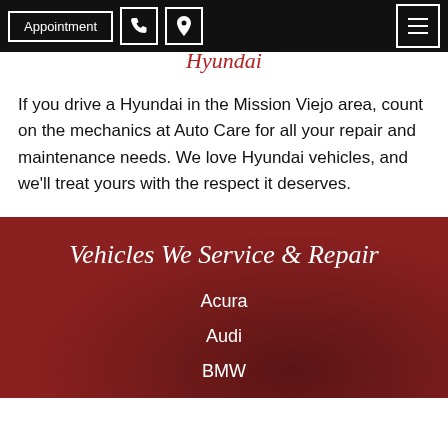Appointment | [phone icon] | [location icon] | [menu icon]
Hyundai
If you drive a Hyundai in the Mission Viejo area, count on the mechanics at Auto Care for all your repair and maintenance needs. We love Hyundai vehicles, and we'll treat yours with the respect it deserves.
Vehicles We Service & Repair
Acura
Audi
BMW